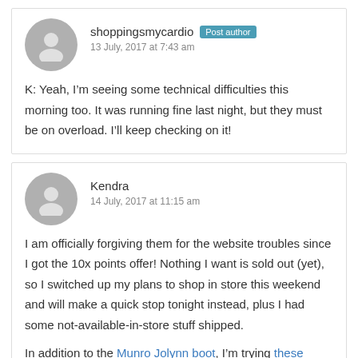shoppingsmycardio Post author
13 July, 2017 at 7:43 am
K: Yeah, I'm seeing some technical difficulties this morning too. It was running fine last night, but they must be on overload. I'll keep checking on it!
Kendra
14 July, 2017 at 11:15 am
I am officially forgiving them for the website troubles since I got the 10x points offer! Nothing I want is sold out (yet), so I switched up my plans to shop in store this weekend and will make a quick stop tonight instead, plus I had some not-available-in-store stuff shipped.
In addition to the Munro Jolynn boot, I'm trying these sneakers.